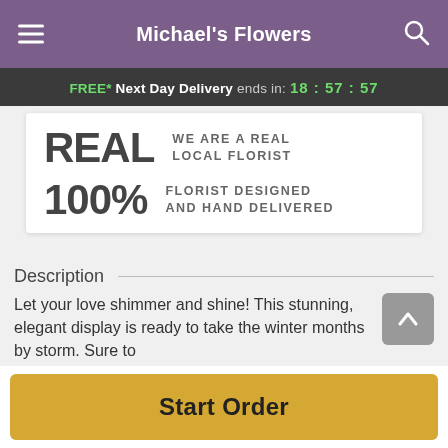Michael's Flowers
FREE* Next Day Delivery ends in: 18:57:57
REAL WE ARE A REAL LOCAL FLORIST
100% FLORIST DESIGNED AND HAND DELIVERED
Description
Let your love shimmer and shine! This stunning, elegant display is ready to take the winter months by storm. Sure to
Start Order